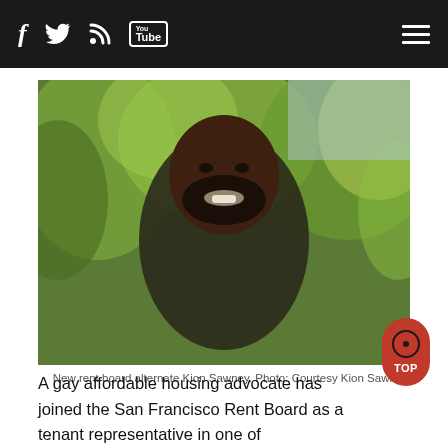f [twitter] [rss] [YouTube] [menu]
[Figure (photo): Portrait photo of Kion Sawney, a smiling Black man with a beard, wearing a dark sweater, with green trees in the background.]
New rent board alternate Kion Sawney. Photo: Courtesy Kion Sawney
A gay affordable housing advocate has joined the San Francisco Rent Board as a tenant representative in one of